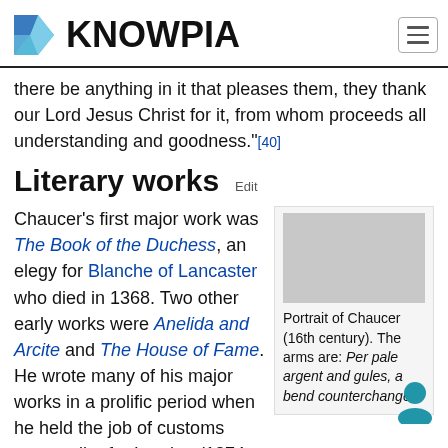KNOWPIA
there be anything in it that pleases them, they thank our Lord Jesus Christ for it, from whom proceeds all understanding and goodness."[40]
Literary works Edit
Chaucer's first major work was The Book of the Duchess, an elegy for Blanche of Lancaster who died in 1368. Two other early works were Anelida and Arcite and The House of Fame. He wrote many of his major works in a prolific period when he held the job of customs comptroller for London (1374 to
[Figure (photo): Portrait of Chaucer (16th century). The arms are: Per pale argent and gules, a bend counterchanged]
Portrait of Chaucer (16th century). The arms are: Per pale argent and gules, a bend counterchanged